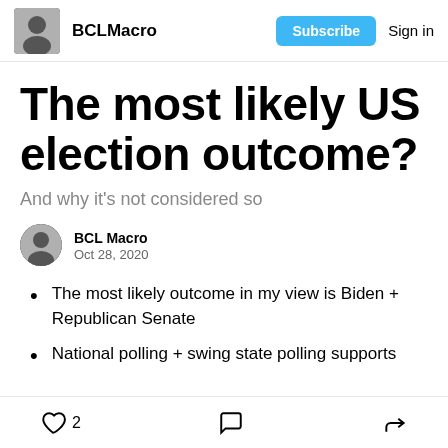BCLMacro  Subscribe  Sign in
The most likely US election outcome?
And why it's not considered so
BCL Macro
Oct 28, 2020
The most likely outcome in my view is Biden + Republican Senate
National polling + swing state polling supports
2  [comment]  [share]